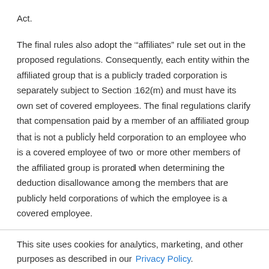Act.
The final rules also adopt the “Affiliates” rule set out in the proposed regulations. Consequently, each entity within the affiliated group that is a publicly traded corporation is separately subject to Section 162(m) and must have its own set of covered employees. The final regulations clarify that compensation paid by a member of an affiliated group that is not a publicly held corporation to an employee who is a covered employee of two or more other members of the affiliated group is prorated when determining the deduction disallowance among the members that are publicly held corporations of which the employee is a covered employee.
This site uses cookies for analytics, marketing, and other purposes as described in our Privacy Policy.
OK